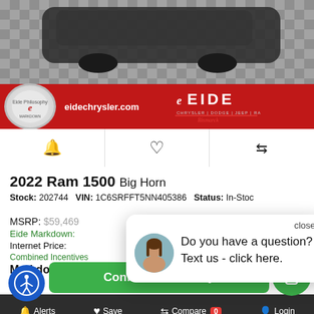[Figure (photo): Car dealership photo showing a dark SUV/truck on a checkered floor, with Eide Chrysler dealer banner (red background with logo, eidechrysler.com, EIDE CHRYSLER DODGE JEEP RAM branding)]
🔔  ♥  ⇄
2022 Ram 1500 Big Horn
Stock: 202744  VIN: 1C6SRFFT5NN405386  Status: In-Stock
MSRP:  $59,469
Eide Markdown:
Internet Price:
Combined Incentives
Markdown Price
close
Do you have a question? Text us - click here.
Confirm Availability
🔔 Alerts  ♥ Save  ⇄ Compare 0  👤 Login